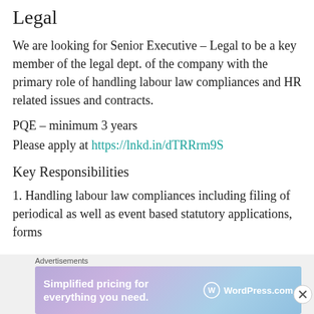Legal
We are looking for Senior Executive – Legal to be a key member of the legal dept. of the company with the primary role of handling labour law compliances and HR related issues and contracts.
PQE – minimum 3 years
Please apply at https://lnkd.in/dTRRrm9S
Key Responsibilities
1. Handling labour law compliances including filing of periodical as well as event based statutory applications, forms
[Figure (infographic): WordPress.com advertisement banner: 'Simplified pricing for everything you need.' with WordPress.com logo on gradient purple-blue background. Labeled 'Advertisements' above.]